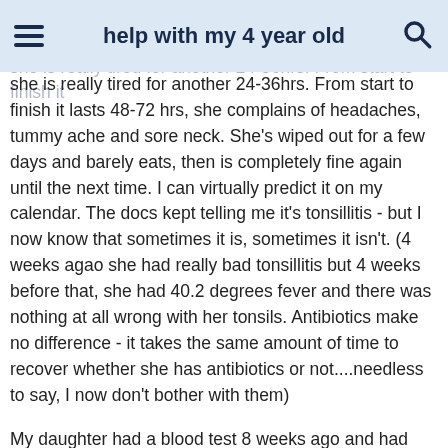help with my 4 year old
My daughter gets temps of 40+ degrees. The temps are hard to bring down and usually last 24-36 hrs and she is really tired for another 24-36hrs. From start to finish it lasts 48-72 hrs, she complains of headaches, tummy ache and sore neck. She's wiped out for a few days and barely eats, then is completely fine again until the next time. I can virtually predict it on my calendar. The docs kept telling me it's tonsillitis - but I now know that sometimes it is, sometimes it isn't. (4 weeks agao she had really bad tonsillitis but 4 weeks before that, she had 40.2 degrees fever and there was nothing at all wrong with her tonsils. Antibiotics make no difference - it takes the same amount of time to recover whether she has antibiotics or not....needless to say, I now don't bother with them)
My daughter had a blood test 8 weeks ago and had low white cells, low rbc, low hb, low hct. She also had an iron profile done which came back with an iron value of 1